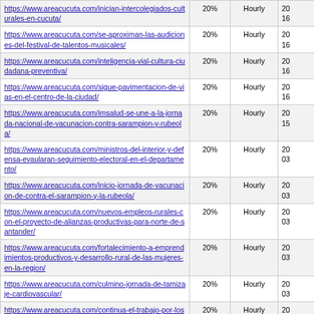| URL | Change Frequency | Priority | Last Modified |
| --- | --- | --- | --- |
| https://www.areacucuta.com/inician-intercolegiados-culturales-en-cucuta/ | 20% | Hourly | 20...16 |
| https://www.areacucuta.com/se-aproximan-las-audiciones-del-festival-de-talentos-musicales/ | 20% | Hourly | 20...16 |
| https://www.areacucuta.com/inteligencia-vial-cultura-ciudadana-preventiva/ | 20% | Hourly | 20...16 |
| https://www.areacucuta.com/sigue-pavimentacion-de-vias-en-el-centro-de-la-ciudad/ | 20% | Hourly | 20...16 |
| https://www.areacucuta.com/imsalud-se-une-a-la-jornada-nacional-de-vacunacion-contra-sarampion-y-rubeola/ | 20% | Hourly | 20...15 |
| https://www.areacucuta.com/ministros-del-interior-y-defensa-evaularan-seguimiento-electoral-en-el-departamento/ | 20% | Hourly | 20...03 |
| https://www.areacucuta.com/inicio-jornada-de-vacunacion-de-contra-el-sarampion-y-la-rubeola/ | 20% | Hourly | 20...03 |
| https://www.areacucuta.com/nuevos-empleos-rurales-con-el-proyecto-de-alianzas-productivas-para-norte-de-santander/ | 20% | Hourly | 20...03 |
| https://www.areacucuta.com/fortalecimiento-a-emprendimientos-productivos-y-desarrollo-rural-de-las-mujeres-en-la-region/ | 20% | Hourly | 20...03 |
| https://www.areacucuta.com/culmino-jornada-de-tamizaje-cardiovascular/ | 20% | Hourly | 20...03 |
| https://www.areacucuta.com/continua-el-trabajo-por-los-adultos-mayores/ | 20% | Hourly | 20...03 |
| https://www.areacucuta.com/magistral-cierre-de-campana-de-donamaris/ | 20% | Hourly | 20...03 |
| https://www.areacucuta.com/trabajo-en-equipo-reto-para-el-gremio-de-periodistas/ | 20% | Hourly | 20...03 |
| https://www.areacucuta.com/san-simon-sigue-trabajando-por-el-desarrollo-vial-de-la-region/ | 20% | Hourly | 20...03 |
| https://www.areacucuta.com/disidentes-verdes-con-andres/ | 20% | Hourly | 20...03 |
| https://www.areacucuta.com/detenidos-dos-presuntos-... | 20% | Hourly | 20...03 |